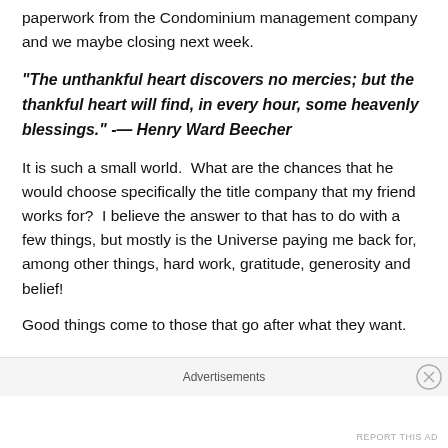paperwork from the Condominium management company and we maybe closing next week.
“The unthankful heart discovers no mercies; but the thankful heart will find, in every hour, some heavenly blessings.” -— Henry Ward Beecher
It is such a small world.  What are the chances that he would choose specifically the title company that my friend works for?  I believe the answer to that has to do with a few things, but mostly is the Universe paying me back for, among other things, hard work, gratitude, generosity and belief!
Good things come to those that go after what they want.
Advertisements